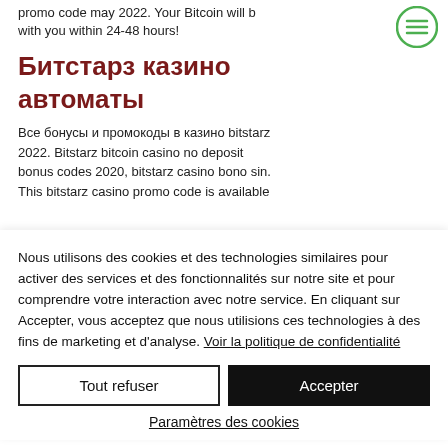promo code may 2022. Your Bitcoin will b with you within 24-48 hours!
Битстарз казино автоматы
Все бонусы и промокоды в казино bitstarz 2022. Bitstarz bitcoin casino no deposit bonus codes 2020, bitstarz casino bono sin. This bitstarz casino promo code is available
Nous utilisons des cookies et des technologies similaires pour activer des services et des fonctionnalités sur notre site et pour comprendre votre interaction avec notre service. En cliquant sur Accepter, vous acceptez que nous utilisions ces technologies à des fins de marketing et d'analyse. Voir la politique de confidentialité
Tout refuser
Accepter
Paramètres des cookies